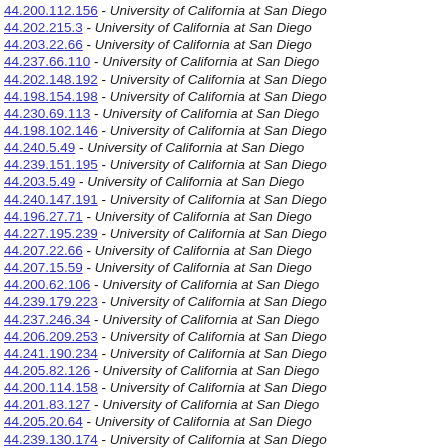44.200.112.156 - University of California at San Diego
44.202.215.3 - University of California at San Diego
44.203.22.66 - University of California at San Diego
44.237.66.110 - University of California at San Diego
44.202.148.192 - University of California at San Diego
44.198.154.198 - University of California at San Diego
44.230.69.113 - University of California at San Diego
44.198.102.146 - University of California at San Diego
44.240.5.49 - University of California at San Diego
44.239.151.195 - University of California at San Diego
44.203.5.49 - University of California at San Diego
44.240.147.191 - University of California at San Diego
44.196.27.71 - University of California at San Diego
44.227.195.239 - University of California at San Diego
44.207.22.66 - University of California at San Diego
44.207.15.59 - University of California at San Diego
44.200.62.106 - University of California at San Diego
44.239.179.223 - University of California at San Diego
44.237.246.34 - University of California at San Diego
44.206.209.253 - University of California at San Diego
44.241.190.234 - University of California at San Diego
44.205.82.126 - University of California at San Diego
44.200.114.158 - University of California at San Diego
44.201.83.127 - University of California at San Diego
44.205.20.64 - University of California at San Diego
44.239.130.174 - University of California at San Diego
44.203.41.85 - University of California at San Diego
44.200.220.8 - University of California at San Diego
44.196.225.13 - University of California at San Diego
44.193.99.143 - University of California at San Diego